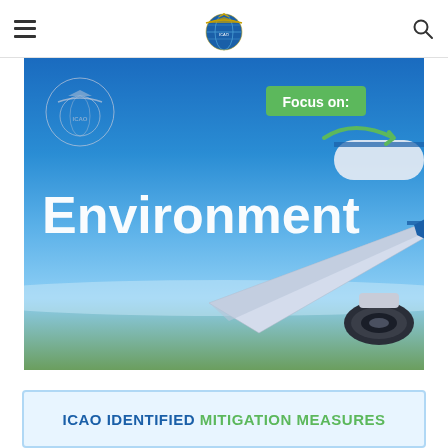ICAO navigation header with hamburger menu, ICAO logo, and search icon
[Figure (photo): ICAO 'Focus on: Environment' banner image showing a commercial aircraft wing in flight above clouds with a blue sky background. The image features the ICAO emblem in the upper left, white bold text 'Environment' in the center-left, and a green 'Focus on:' label with an arrow graphic in the upper right corner.]
ICAO IDENTIFIED MITIGATION MEASURES